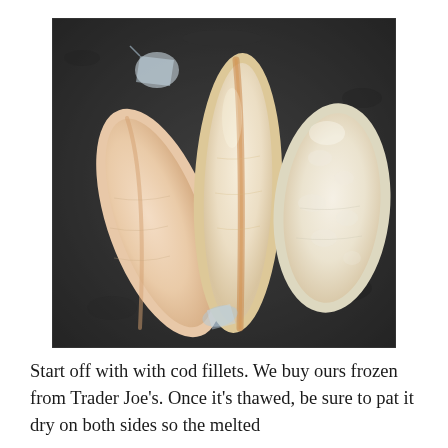[Figure (photo): Three raw white cod fillets resting on a dark tray/surface, partially wrapped in clear plastic packaging. The fillets are pale white/cream colored with a slight orange-tan stripe along the center of the middle fillet.]
Start off with with cod fillets. We buy ours frozen from Trader Joe's. Once it's thawed, be sure to pat it dry on both sides so the melted